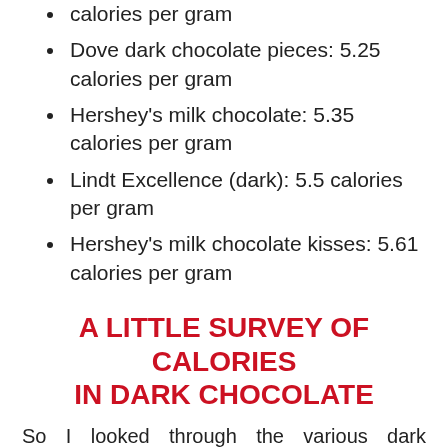calories per gram
Dove dark chocolate pieces: 5.25 calories per gram
Hershey's milk chocolate: 5.35 calories per gram
Lindt Excellence (dark): 5.5 calories per gram
Hershey's milk chocolate kisses: 5.61 calories per gram
A LITTLE SURVEY OF CALORIES IN DARK CHOCOLATE
So I looked through the various dark chocolates you can find throughout this site, and for many of them I figured out the calories per gram. For some of the other items, I could not determine calories